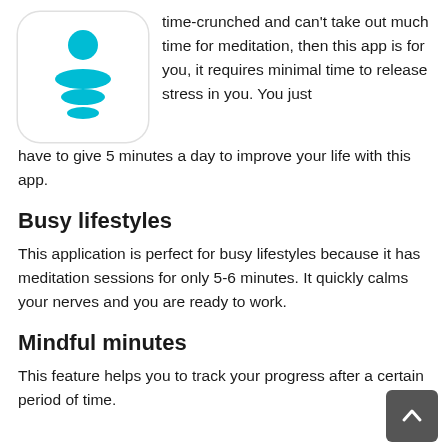[Figure (logo): App icon showing a teal/turquoise meditation figure with stacked oval shapes on a white rounded-rectangle background]
time-crunched and can't take out much time for meditation, then this app is for you, it requires minimal time to release stress in you. You just have to give 5 minutes a day to improve your life with this app.
Busy lifestyles
This application is perfect for busy lifestyles because it has meditation sessions for only 5-6 minutes. It quickly calms your nerves and you are ready to work.
Mindful minutes
This feature helps you to track your progress after a certain period of time.